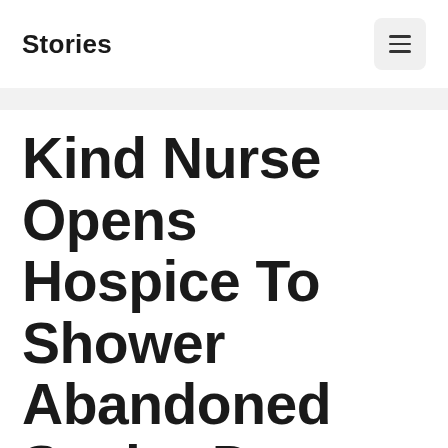Stories
Kind Nurse Opens Hospice To Shower Abandoned Senior Dogs With Love During Their Last